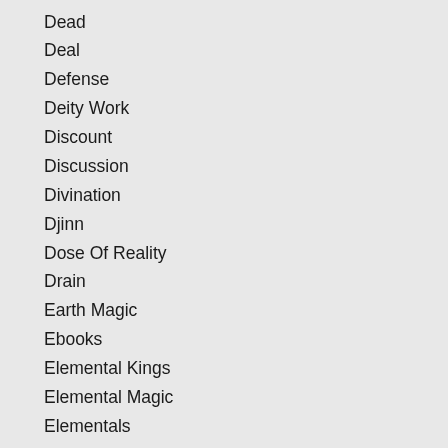Dead
Deal
Defense
Deity Work
Discount
Discussion
Divination
Djinn
Dose Of Reality
Drain
Earth Magic
Ebooks
Elemental Kings
Elemental Magic
Elementals
Elubatel
Empowerment
Endurance
Energy Work